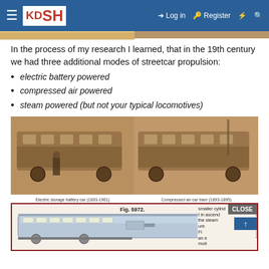KDSH | Log in | Register
In the process of my research I learned, that in the 19th century we had three additional modes of streetcar propulsion:
electric battery powered
compressed air powered
steam powered (but not your typical locomotives)
[Figure (photo): Two sepia-toned historical photographs side by side: left shows an electric storage battery streetcar (1893-1901), right shows a compressed air tram (1893-1895)]
Electric storage battery car (1893-1901)    Compressed air car tram (1893-1895)
[Figure (engineering-diagram): Fig. 5972. Engineering diagram of a steam-powered streetcar with text describing smaller cylinder mechanics, with a CLOSE button overlay in the top right corner]